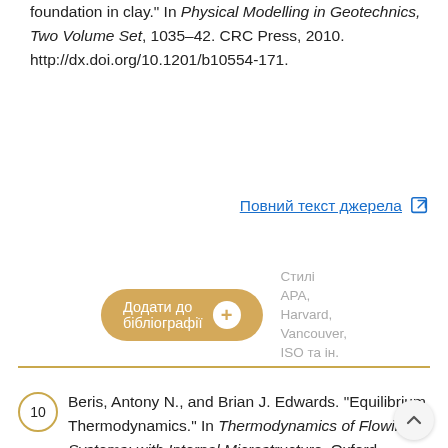foundation in clay." In Physical Modelling in Geotechnics, Two Volume Set, 1035–42. CRC Press, 2010. http://dx.doi.org/10.1201/b10554-171.
Повний текст джерела
Додати до бібліографії  Стилі APA, Harvard, Vancouver, ISO та ін.
10  Beris, Antony N., and Brian J. Edwards. "Equilibrium Thermodynamics." In Thermodynamics of Flowing Systems: with Internal Microstructure. Oxford University Press, 1994. http://dx.doi.org/10.1093/oso/9780195076943.